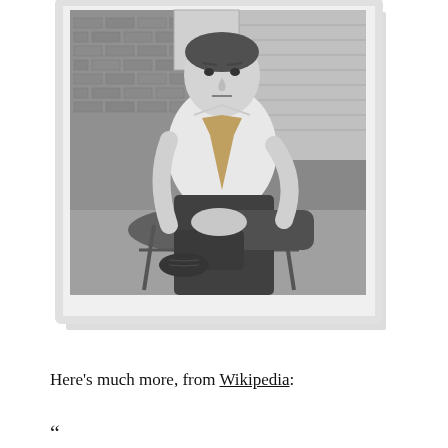[Figure (photo): Black and white vintage photograph of a young man in a white shirt and patterned tie, sitting on outdoor furniture (appears to be a metal bench or chairs) in front of a brick wall and wooden siding. He is seated with legs crossed, hands clasped, looking directly at the camera. The photo has the appearance of a Polaroid or old snapshot with white borders.]
Here's much more, from Wikipedia:
“